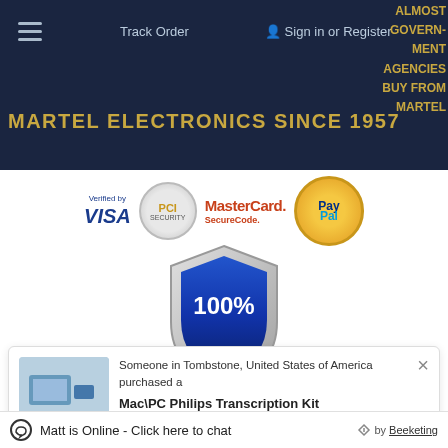Track Order   Sign in or Register
MARTEL ELECTRONICS SINCE 1957
ALMOST GOVERNMENT AGENCIES BUY FROM MARTEL
[Figure (logo): Payment trust badges: Verified by VISA, PCI Secure badge, MasterCard SecureCode, PayPal]
[Figure (illustration): 100% SECURED shield badge in blue and silver]
Someone in Tombstone, United States of America purchased a
Mac\PC Philips Transcription Kit
Matt is Online - Click here to chat   by Beeketing